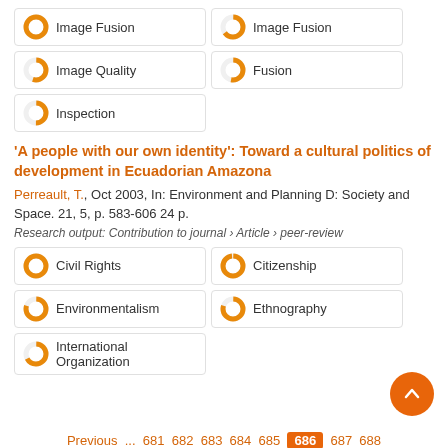100% Image Fusion
65% Image Fusion
55% Image Quality
53% Fusion
50% Inspection
'A people with our own identity': Toward a cultural politics of development in Ecuadorian Amazona
Perreault, T., Oct 2003, In: Environment and Planning D: Society and Space. 21, 5, p. 583-606 24 p.
Research output: Contribution to journal › Article › peer-review
100% Civil Rights
98% Citizenship
80% Environmentalism
80% Ethnography
67% International Organization
Previous ... 681 682 683 684 685 686 687 688